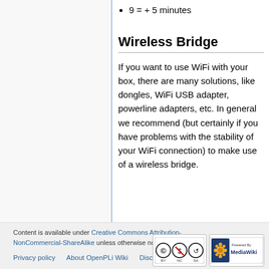9 = + 5 minutes
Wireless Bridge
If you want to use WiFi with your box, there are many solutions, like dongles, WiFi USB adapter, powerline adapters, etc. In general we recommend (but certainly if you have problems with the stability of your WiFi connection) to make use of a wireless bridge.
Content is available under Creative Commons Attribution-NonCommercial-ShareAlike unless otherwise noted.
Privacy policy · About OpenPLi Wiki · Disclaimers